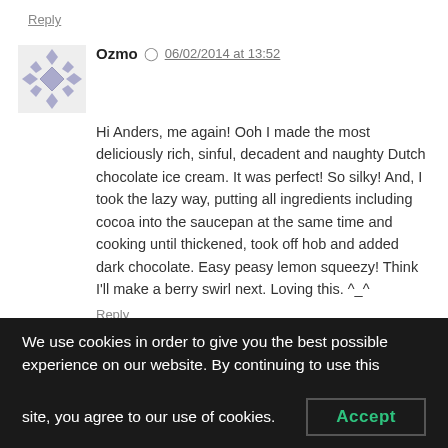Reply
Ozmo  06/02/2014 at 13:52
Hi Anders, me again! Ooh I made the most deliciously rich, sinful, decadent and naughty Dutch chocolate ice cream. It was perfect! So silky! And, I took the lazy way, putting all ingredients including cocoa into the saucepan at the same time and cooking until thickened, took off hob and added dark chocolate. Easy peasy lemon squeezy! Think I'll make a berry swirl next. Loving this. ^_^
Reply
Anders  06/02/2014 at 13:57
Great to hear Ozmo! And you are right about the
We use cookies in order to give you the best possible experience on our website. By continuing to use this site, you agree to our use of cookies.
Accept